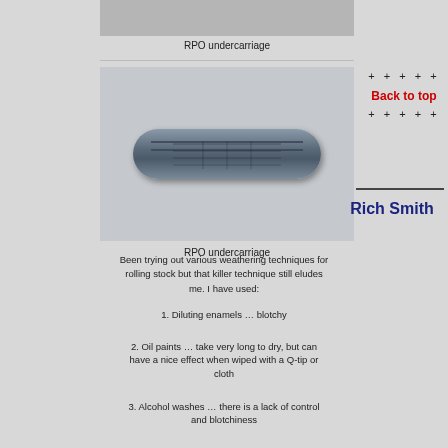[Figure (photo): Partial top view of RPO undercarriage model]
RPO undercarriage
[Figure (photo): RPO undercarriage - a grey/blue rounded cylindrical model train undercarriage component]
RPO undercarriage
+ + + + +
Back to top
+ + + + +
Rich Smith
Been trying out various weathering techniques for rolling stock but that killer technique still eludes me. I have used:
1. Diluting enamels … blotchy
2. Oil paints … take very long to dry, but can have a nice effect when wiped with a Q-tip or cloth
3. Alcohol washes … there is a lack of control and blotchiness